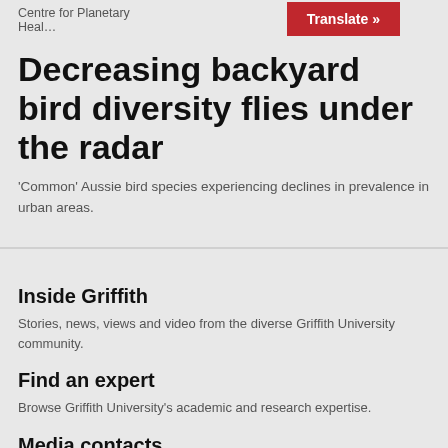Centre for Planetary Heal…
Decreasing backyard bird diversity flies under the radar
'Common' Aussie bird species experiencing declines in prevalence in urban areas.
Inside Griffith
Stories, news, views and video from the diverse Griffith University community.
Find an expert
Browse Griffith University's academic and research expertise.
Media contacts
For all media enquiries, please get in touch with our communications team.